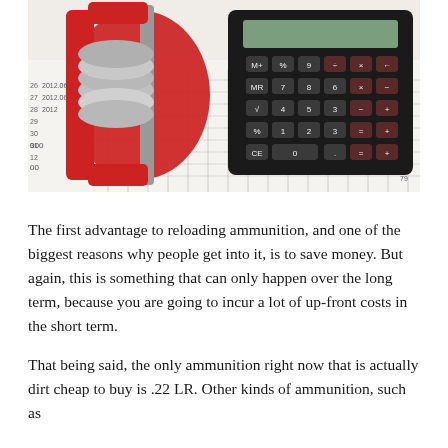[Figure (photo): Photo of a red C-clamp squeezing a stack of coins alongside a black calculator, placed on top of financial spreadsheet papers with numbers and chart lines visible.]
The first advantage to reloading ammunition, and one of the biggest reasons why people get into it, is to save money. But again, this is something that can only happen over the long term, because you are going to incur a lot of up-front costs in the short term.
That being said, the only ammunition right now that is actually dirt cheap to buy is .22 LR. Other kinds of ammunition, such as